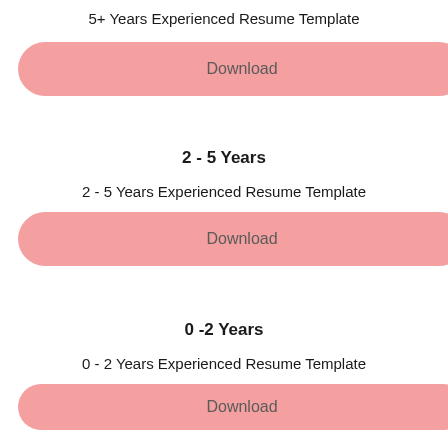5+ Years Experienced Resume Template
Download
2 - 5 Years
2 - 5 Years Experienced Resume Template
Download
0 -2 Years
0 - 2 Years Experienced Resume Template
Download